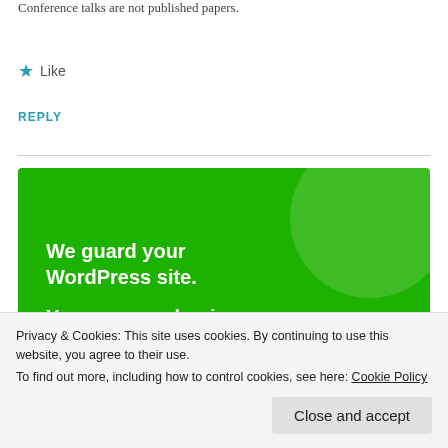Conference talks are not published papers.
★ Like
REPLY
[Figure (illustration): Green advertisement banner reading 'We guard your WordPress site. You run your business.' with a white 'Secure Your Site' button.]
Privacy & Cookies: This site uses cookies. By continuing to use this website, you agree to their use.
To find out more, including how to control cookies, see here: Cookie Policy
Close and accept